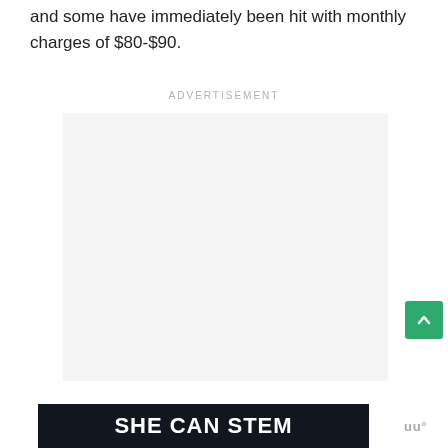and some have immediately been hit with monthly charges of $80-$90.
ADVERTISEMENT
[Figure (other): Empty advertisement placeholder box with light gray background]
[Figure (other): Green scroll-to-top button with upward chevron arrow]
[Figure (other): Dark banner advertisement reading SHE CAN STEM with logo mark on right side]